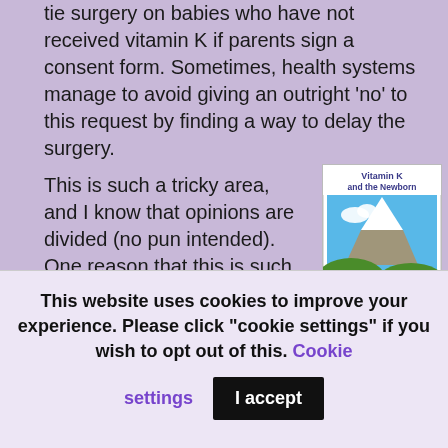tie surgery on babies who have not received vitamin K if parents sign a consent form. Sometimes, health systems manage to avoid giving an outright 'no' to this request by finding a way to delay the surgery.
This is such a tricky area, and I know that opinions are divided (no pun intended). One reason that this is such a tricky subject is because we all have different perceptions about two important factors: risk and responsibility. As I also discuss in Vitamin K and the Newborn, the chance of a
[Figure (illustration): Book cover showing 'Vitamin K and the Newborn' with a mountain landscape illustration]
This website uses cookies to improve your experience. Please click "cookie settings" if you wish to opt out of this. Cookie settings  I accept